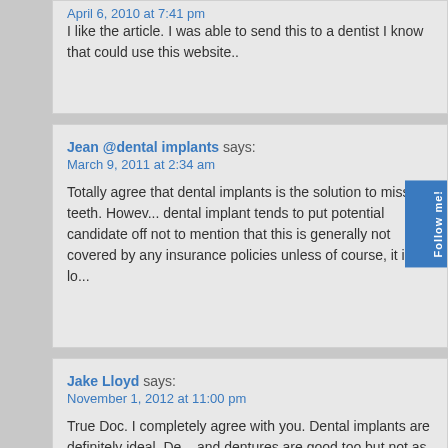April 6, 2010 at 7:41 pm
I like the article. I was able to send this to a dentist I know that could use this website..
Jean @dental implants says:
March 9, 2011 at 2:34 am
Totally agree that dental implants is the solution to missing teeth. However, dental implant tends to put potential candidate off not to mention that this is generally not covered by any insurance policies unless of course, it is lo...
Jake Lloyd says:
November 1, 2012 at 11:00 pm
True Doc. I completely agree with you. Dental implants are definitely ideal. De... and dentures are good too but not as good as dental implants because of its... Indeed, dental implants looks and feels a lot like natural teeth. Good info.